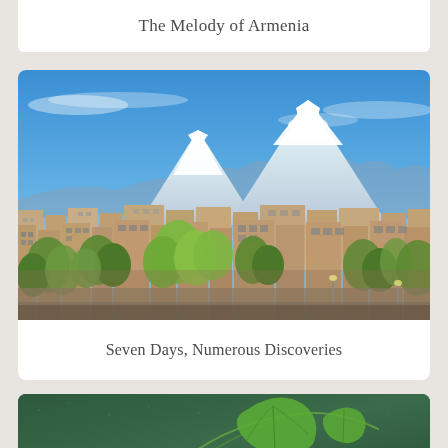The Melody of Armenia
[Figure (photo): Panoramic cityscape of Yerevan, Armenia with Mount Ararat (twin snow-capped peaks) in the background under a blue sky. The city shows a mixture of Soviet-era apartment blocks and modern buildings with green trees in the foreground.]
Seven Days, Numerous Discoveries
[Figure (photo): Close-up of a dark green surface (possibly a table or fabric) with a green vine/herb leaf and what appears to be a rolled item (possibly a cigar or food roll) partially visible at the bottom.]